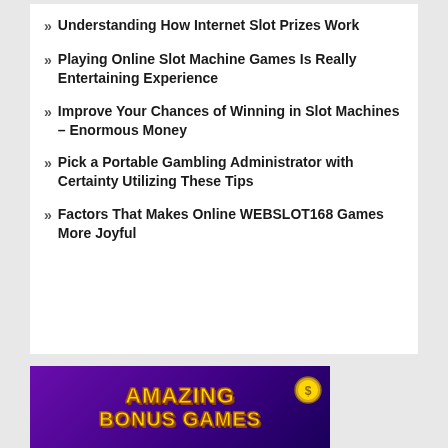» Understanding How Internet Slot Prizes Work
» Playing Online Slot Machine Games Is Really Entertaining Experience
» Improve Your Chances of Winning in Slot Machines – Enormous Money
» Pick a Portable Gambling Administrator with Certainty Utilizing These Tips
» Factors That Makes Online WEBSLOT168 Games More Joyful
[Figure (illustration): Banner image showing 'AMAZING BONUS GAMES' text in yellow with gold coins on a purple/dark background]